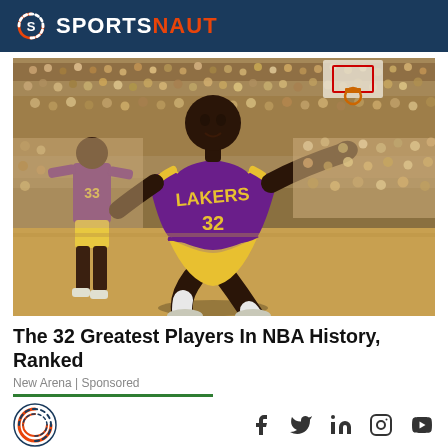SPORTSNAUT
[Figure (photo): Basketball player in Los Angeles Lakers purple and gold uniform (number 32) running and reaching with arm extended, with another Lakers player (number 33) visible in background, crowd in arena behind them, vintage photograph]
The 32 Greatest Players In NBA History, Ranked
New Arena | Sponsored
[Figure (logo): Sportsnaut S logo and social media icons (Facebook, Twitter, LinkedIn, Instagram, YouTube)]